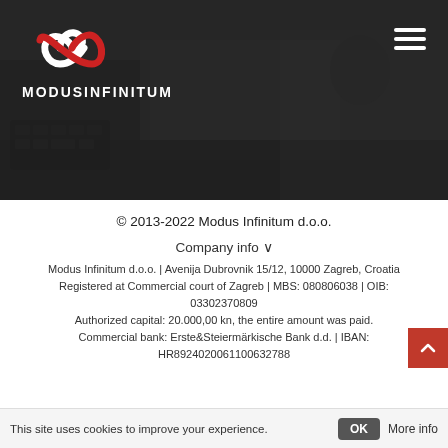[Figure (logo): Modus Infinitum logo: red and white infinity symbol with company name MODUSINFINITUM below, on dark hero background with hamburger menu icon top right]
© 2013-2022 Modus Infinitum d.o.o.
Company info ∨
Modus Infinitum d.o.o. | Avenija Dubrovnik 15/12, 10000 Zagreb, Croatia
Registered at Commercial court of Zagreb | MBS: 080806038 | OIB: 03302370809
Authorized capital: 20.000,00 kn, the entire amount was paid.
Commercial bank: Erste&Steiermärkische Bank d.d. | IBAN: HR8924020061100632788
This site uses cookies to improve your experience.
OK
More info